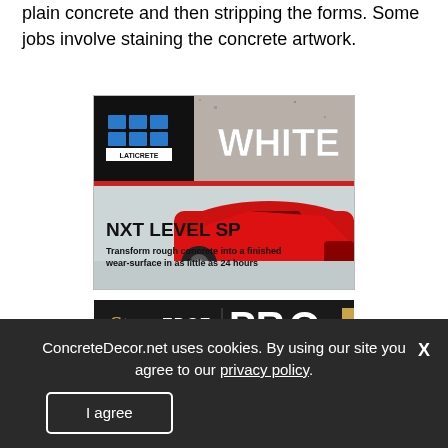plain concrete and then stripping the forms. Some jobs involve staining the concrete artwork.
[Figure (illustration): LATICRETE advertisement for NXT LEVEL SP product showing a red sports car on white concrete floor. Text: WHITE, NXT LEVEL SP, Transform rough concrete into a finished wear-surface in as little as 24 hours]
[Figure (illustration): Stone Edge Surfaces PRO BOND ULTRA advertisement on dark background]
ConcreteDecor.net uses cookies. By using our site you agree to our privacy policy.